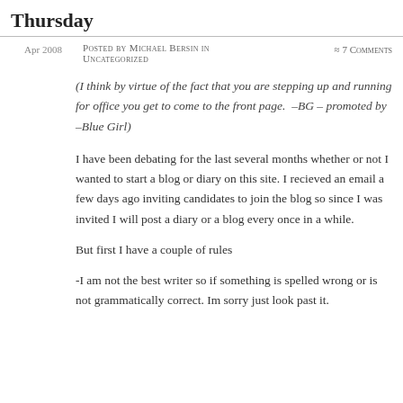Thursday
Apr 2008
Posted by Michael Bersin in Uncategorized
≈ 7 Comments
(I think by virtue of the fact that you are stepping up and running for office you get to come to the front page.  –BG – promoted by –Blue Girl)
I have been debating for the last several months whether or not I wanted to start a blog or diary on this site. I recieved an email a few days ago inviting candidates to join the blog so since I was invited I will post a diary or a blog every once in a while.
But first I have a couple of rules
-I am not the best writer so if something is spelled wrong or is not grammatically correct. Im sorry just look past it.